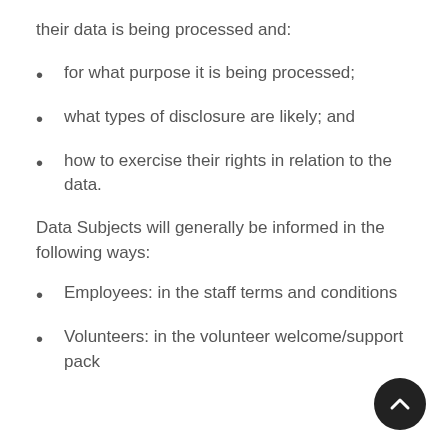their data is being processed and:
for what purpose it is being processed;
what types of disclosure are likely; and
how to exercise their rights in relation to the data.
Data Subjects will generally be informed in the following ways:
Employees: in the staff terms and conditions
Volunteers: in the volunteer welcome/support pack